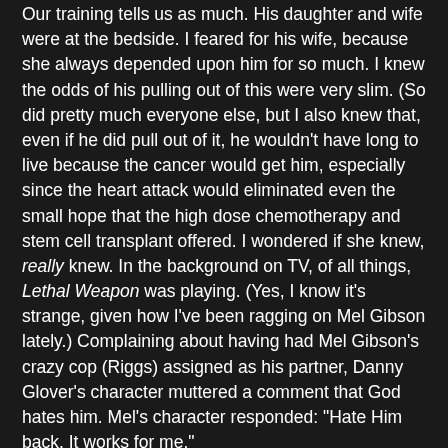Our training tells us as much. His daughter and wife were at the bedside. I feared for his wife, because she always depended upon him for so much. I knew the odds of his pulling out of this were very slim. (So did pretty much everyone else, but I also knew that, even if he did pull out of it, he wouldn't have long to live because the cancer would get him, especially since the heart attack would eliminated even the small hope that the high dose chemotherapy and stem cell transplant offered. I wondered if she knew, really knew. In the background on TV, of all things, Lethal Weapon was playing. (Yes, I know it's strange, given how I've been ragging on Mel Gibson lately.) Complaining about having had Mel Gibson's crazy cop (Riggs) assigned as his partner, Danny Glover's character muttered a comment that God hates him. Mel's character responded: "Hate Him back. It works for me."
At a moment like that, I understood that sentiment a bit more than I would like to have admitted. We turned the TV off.
In a sense and I believe I've mentioned this previously, I was...